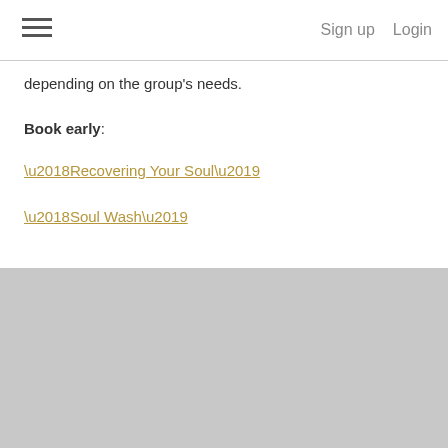Sign up  Login
depending on the group's needs.
Book early:
‘Recovering Your Soul’
‘Soul Wash’